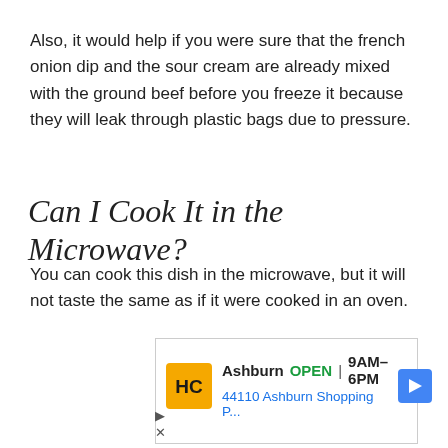Also, it would help if you were sure that the french onion dip and the sour cream are already mixed with the ground beef before you freeze it because they will leak through plastic bags due to pressure.
Can I Cook It in the Microwave?
You can cook this dish in the microwave, but it will not taste the same as if it were cooked in an oven.
[Figure (other): Advertisement: Ashburn OPEN 9AM-6PM, 44110 Ashburn Shopping P... with HC logo and navigation arrow]